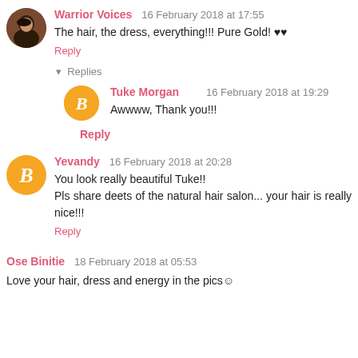Warrior Voices  16 February 2018 at 17:55
The hair, the dress, everything!!! Pure Gold! ♥♥
Reply
▾ Replies
Tuke Morgan  16 February 2018 at 19:29
Awwww, Thank you!!!
Reply
Yevandy  16 February 2018 at 20:28
You look really beautiful Tuke!!
Pls share deets of the natural hair salon... your hair is really nice!!!
Reply
Ose Binitie  18 February 2018 at 05:53
Love your hair, dress and energy in the pics☺